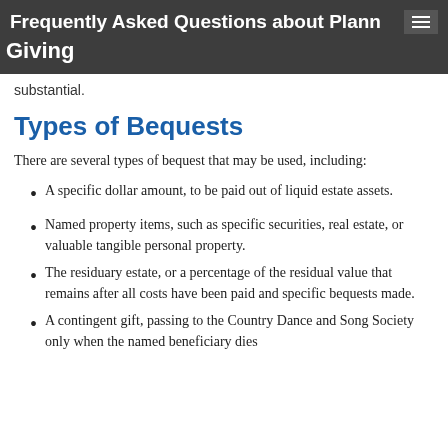Frequently Asked Questions about Planned Giving
substantial.
Types of Bequests
There are several types of bequest that may be used, including:
A specific dollar amount, to be paid out of liquid estate assets.
Named property items, such as specific securities, real estate, or valuable tangible personal property.
The residuary estate, or a percentage of the residual value that remains after all costs have been paid and specific bequests made.
A contingent gift, passing to the Country Dance and Song Society only when the named beneficiary dies